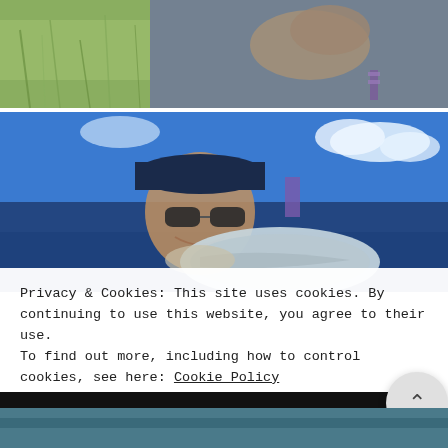[Figure (photo): Close-up photo showing hands and a gray jacket sleeve with green grassy background]
[Figure (photo): Man wearing sunglasses and a baseball cap, smiling, holding a fish, with blue sky and clouds in background]
Privacy & Cookies: This site uses cookies. By continuing to use this website, you agree to their use.
To find out more, including how to control cookies, see here: Cookie Policy
CLOSE AND ACCEPT
[Figure (photo): Partial view of another outdoor/fishing photo at the bottom of the page]